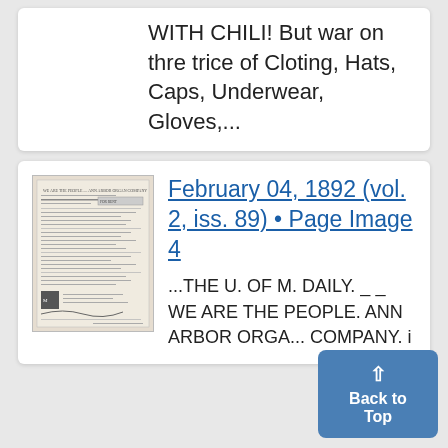WITH CHILI! But war on thre trice of Cloting, Hats, Caps, Underwear, Gloves,...
[Figure (photo): Thumbnail of a historical newspaper page from February 04, 1892]
February 04, 1892 (vol. 2, iss. 89) • Page Image 4
...THE U. OF M. DAILY. _ _ WE ARE THE PEOPLE. ANN ARBOR ORGA... COMPANY. i